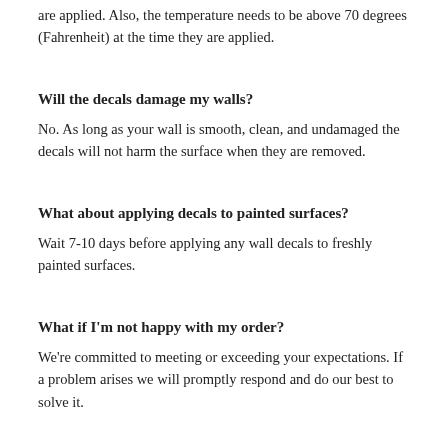are applied. Also, the temperature needs to be above 70 degrees (Fahrenheit) at the time they are applied.
Will the decals damage my walls?
No. As long as your wall is smooth, clean, and undamaged the decals will not harm the surface when they are removed.
What about applying decals to painted surfaces?
Wait 7-10 days before applying any wall decals to freshly painted surfaces.
What if I'm not happy with my order?
We're committed to meeting or exceeding your expectations. If a problem arises we will promptly respond and do our best to solve it.
Since 2001 we've sold over 50,000 decals worldwide. Our decals have been used in everything from large custom commercial projects to decorating children's rooms. Our goal is for each customer...